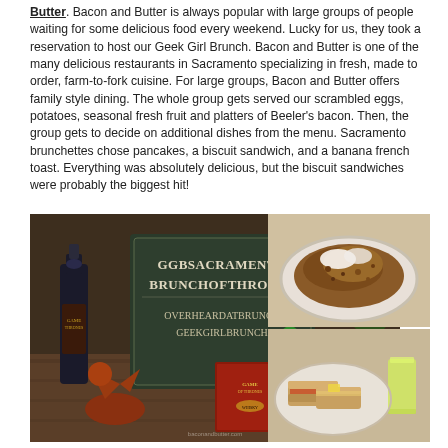Butter. Bacon and Butter is always popular with large groups of people waiting for some delicious food every weekend. Lucky for us, they took a reservation to host our Geek Girl Brunch. Bacon and Butter is one of the many delicious restaurants in Sacramento specializing in fresh, made to order, farm-to-fork cuisine. For large groups, Bacon and Butter offers family style dining. The whole group gets served our scrambled eggs, potatoes, seasonal fresh fruit and platters of Beeler’s bacon. Then, the group gets to decide on additional dishes from the menu. Sacramento brunchettes chose pancakes, a biscuit sandwich, and a banana french toast. Everything was absolutely delicious, but the biscuit sandwiches were probably the biggest hit!
[Figure (photo): Left photo: chalkboard sign reading 'GGBSacramento BrunchofThrones OverheardAtBrunch GeekGirlBrunch' with Game of Thrones whisky bottle, dragon figurines, and brunch items on a table. Top-right photo: plate of banana french toast or granola dish with cream. Bottom-right photo: plate of biscuit sandwiches with a glass of juice.]